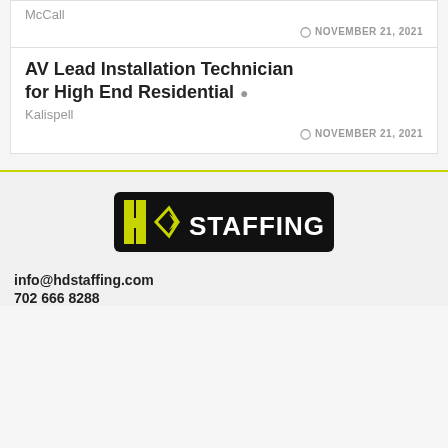McCall
NOVEMBER 21, 2021
AV Lead Installation Technician for High End Residential
Kalispell
NOVEMBER 21, 2021
[Figure (logo): HD Staffing logo — black rounded rectangle with yellow-green HD diamond arrow mark and white STAFFING text]
info@hdstaffing.com
702 666 8288